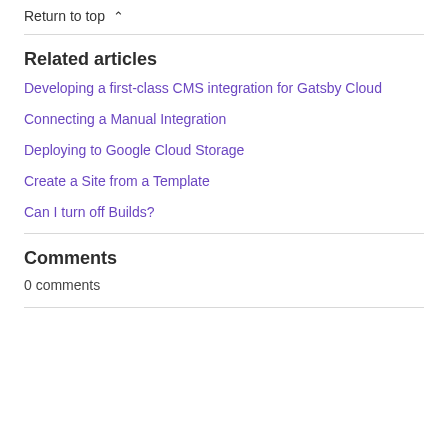Return to top ∧
Related articles
Developing a first-class CMS integration for Gatsby Cloud
Connecting a Manual Integration
Deploying to Google Cloud Storage
Create a Site from a Template
Can I turn off Builds?
Comments
0 comments